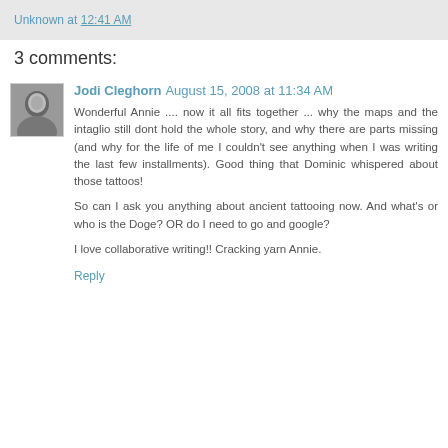Unknown at 12:41 AM
3 comments:
Jodi Cleghorn August 15, 2008 at 11:34 AM
Wonderful Annie .... now it all fits together ... why the maps and the intaglio still dont hold the whole story, and why there are parts missing (and why for the life of me I couldn't see anything when I was writing the last few installments). Good thing that Dominic whispered about those tattoos!
So can I ask you anything about ancient tattooing now. And what's or who is the Doge? OR do I need to go and google?
I love collaborative writing!! Cracking yarn Annie.
Reply